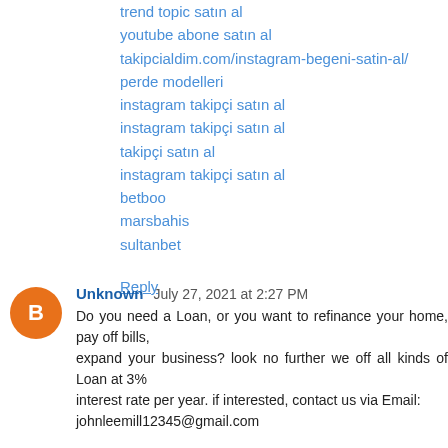trend topic satın al
youtube abone satın al
takipcialdim.com/instagram-begeni-satin-al/
perde modelleri
instagram takipçi satın al
instagram takipçi satın al
takipçi satın al
instagram takipçi satın al
betboo
marsbahis
sultanbet
Reply
Unknown  July 27, 2021 at 2:27 PM
Do you need a Loan, or you want to refinance your home, pay off bills,
expand your business? look no further we off all kinds of Loan at 3%
interest rate per year. if interested, contact us via Email:
johnleemill12345@gmail.com